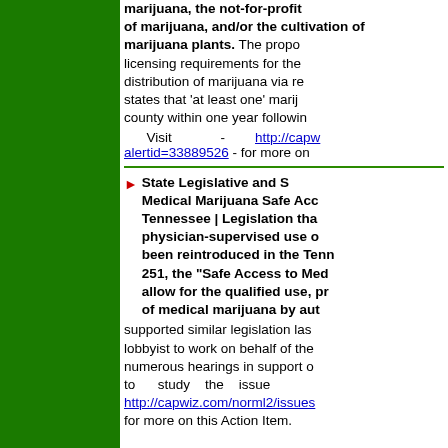marijuana, the not-for-profit of marijuana, and/or the cultivation of marijuana plants. The proposal sets licensing requirements for the sale and distribution of marijuana via retail outlets, states that 'at least one' marijuana dispensary county within one year following...
Visit - http://capwiz...alertid=33889526 - for more on...
State Legislative and State Action: Medical Marijuana Safe Access Act | Tennessee | Legislation that would allow physician-supervised use of marijuana has been reintroduced in the Tennessee. HB 251, the "Safe Access to Medical..." would allow for the qualified use, production... of medical marijuana by authorized...
supported similar legislation last year, hired a lobbyist to work on behalf of the bill, testified at numerous hearings in support of the bill, called on legislators to study the issue http://capwiz.com/norml2/issues... for more on this Action Item.